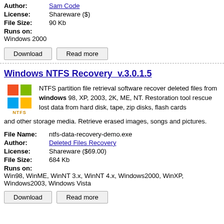Author: Sam Code
License: Shareware ($)
File Size: 90 Kb
Runs on:
Windows 2000
Download | Read more
Windows NTFS Recovery  v.3.0.1.5
NTFS partition file retrieval software recover deleted files from windows 98, XP, 2003, 2K, ME, NT. Restoration tool rescue lost data from hard disk, tape, zip disks, flash cards and other storage media. Retrieve erased images, songs and pictures.
File Name: ntfs-data-recovery-demo.exe
Author: Deleted Files Recovery
License: Shareware ($69.00)
File Size: 684 Kb
Runs on:
Win98, WinME, WinNT 3.x, WinNT 4.x, Windows2000, WinXP, Windows2003, Windows Vista
Download | Read more